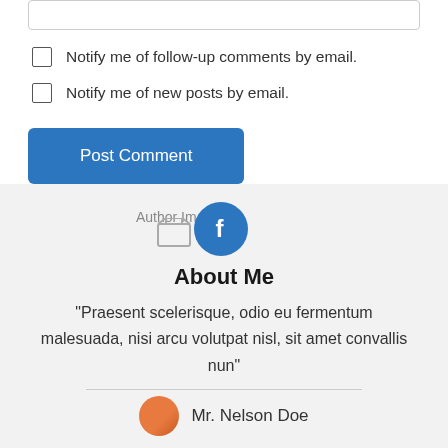[Figure (other): Text input bar (comment field) at top of page]
Notify me of follow-up comments by email.
Notify me of new posts by email.
Post Comment
[Figure (illustration): Author image placeholder with file icon and Facebook circle icon]
About Me
“Praesent scelerisque, odio eu fermentum malesuada, nisi arcu volutpat nisl, sit amet convallis nun”
Mr. Nelson Doe